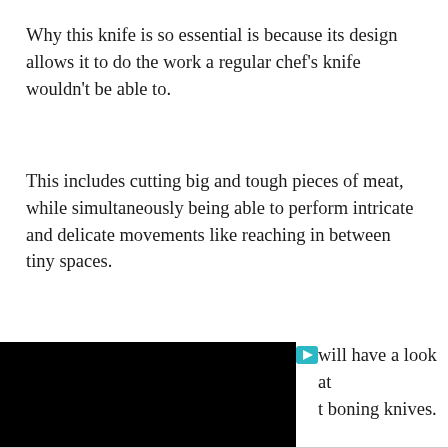Why this knife is so essential is because its design allows it to do the work a regular chef's knife wouldn't be able to.
This includes cutting big and tough pieces of meat, while simultaneously being able to perform intricate and delicate movements like reaching in between tiny spaces.
[Figure (screenshot): A black video player thumbnail occupying the left portion of the page, with a teal play button icon at the top right corner of the video area, and partial text to the right reading 'will have a look at' and 't boning knives.']